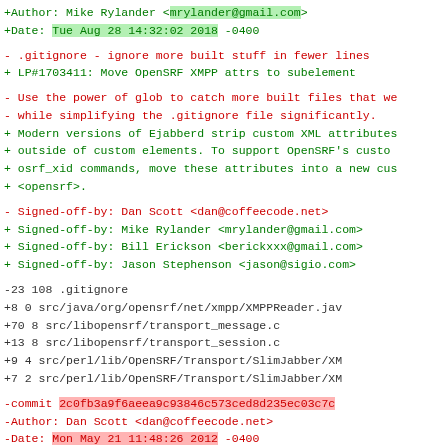Git diff output showing commit metadata, file changes, and sign-off lines with additions (green) and deletions (red)